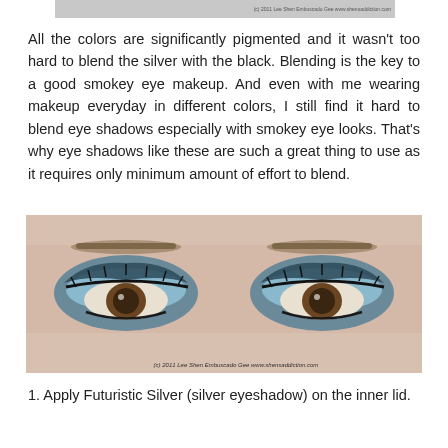[Figure (photo): Top partial image strip showing a previous makeup look with watermark text]
All the colors are significantly pigmented and it wasn't too hard to blend the silver with the black. Blending is the key to a good smokey eye makeup. And even with me wearing makeup everyday in different colors, I still find it hard to blend eye shadows especially with smokey eye looks. That's why eye shadows like these are such a great thing to use as it requires only minimum amount of effort to blend.
[Figure (photo): Close-up photo of eyes with blue/silver smokey eye makeup applied. Watermark reads: (c) 2011 Lee Shen Embuscado Gee www.shensaddiction.com]
1. Apply Futuristic Silver (silver eyeshadow) on the inner lid.